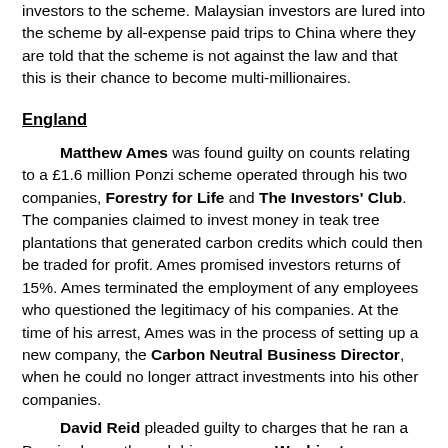investors to the scheme. Malaysian investors are lured into the scheme by all-expense paid trips to China where they are told that the scheme is not against the law and that this is their chance to become multi-millionaires.
England
Matthew Ames was found guilty on counts relating to a £1.6 million Ponzi scheme operated through his two companies, Forestry for Life and The Investors' Club. The companies claimed to invest money in teak tree plantations that generated carbon credits which could then be traded for profit. Ames promised investors returns of 15%. Ames terminated the employment of any employees who questioned the legitimacy of his companies. At the time of his arrest, Ames was in the process of setting up a new company, the Carbon Neutral Business Director, when he could no longer attract investments into his other companies.
David Reid pleaded guilty to charges that he ran a Ponzi scheme through his company, Washington Mortgage Centre, which defrauded about 50 victims of £3 million.